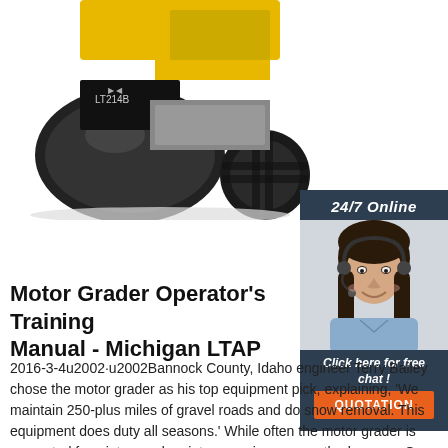[Figure (photo): Road roller / compactor machine labeled LT214B, photographed from the rear/side, showing a large black steel drum roller and rear wheel. Machine is yellow and black.]
[Figure (photo): Customer service representative woman with headset smiling, part of a 24/7 online chat widget promotional sidebar. Includes header '24/7 Online', 'Click here for free chat!' and orange 'QUOTATION' button.]
Motor Grader Operator's Training Manual - Michigan LTAP
2016-3-4u2002·u2002Bannock County, Idaho engineer Terry Bailey chose the motor grader as his top equipment pick, explaining, 'We maintain 250-plus miles of gravel roads and do snow removal. This equipment does duty all seasons.' While often the motor grader is converted for winter road maintenance in more northerly areas, Gary